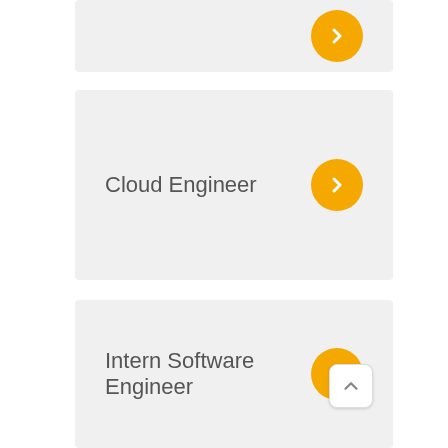[Figure (screenshot): Partial card at top of page with orange arrow button, cut off]
Cloud Engineer
[Figure (screenshot): Orange circular arrow button for Cloud Engineer card]
Intern Software Engineer
[Figure (screenshot): Orange circular arrow button for Intern Software Engineer card, with scroll-up indicator overlay]